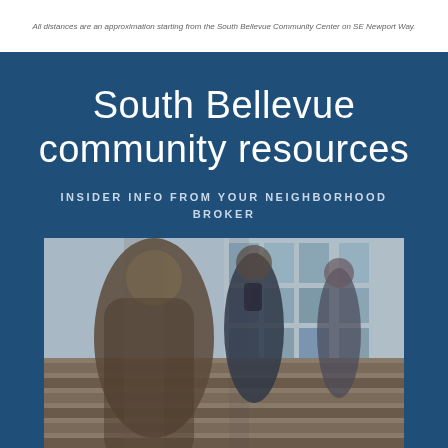All distances are an approximation starting from the South Bellevue Community Center on SE Newport Way.
South Bellevue community resources
INSIDER INFO FROM YOUR NEIGHBORHOOD BROKER
[Figure (photo): Motion-blurred photo of people walking up outdoor stairs in front of a glass-facade building]